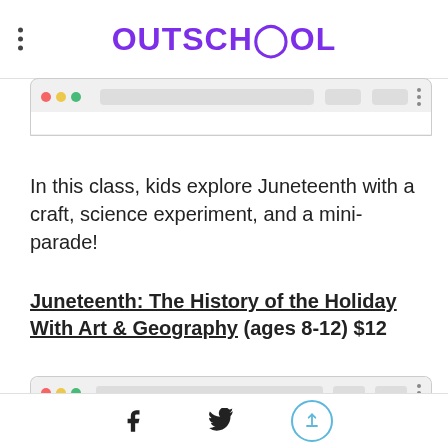OUTSCHOOL
[Figure (screenshot): Partial browser window screenshot (top cropped)]
In this class, kids explore Juneteenth with a craft, science experiment, and a mini-parade!
Juneteenth: The History of the Holiday With Art & Geography (ages 8-12) $12
[Figure (screenshot): Browser window showing Juneteenth - Everyone Is Invited to Celebrate Freedom: Developing USA...]
Social share icons: Facebook, Twitter, Upload/Share